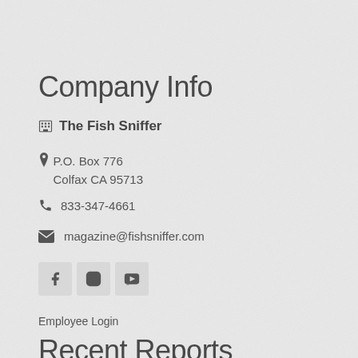Company Info
🏢 The Fish Sniffer
P.O. Box 776
Colfax CA 95713
833-347-4661
magazine@fishsniffer.com
[Figure (other): Social media icons: Facebook, Instagram, YouTube]
Employee Login
Recent Reports